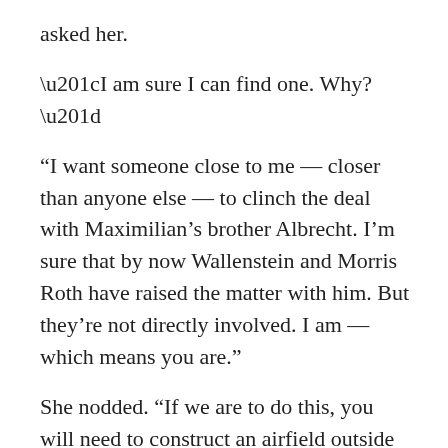asked her.
“I am sure I can find one. Why?”
“I want someone close to me — closer than anyone else — to clinch the deal with Maximilian’s brother Albrecht. I’m sure that by now Wallenstein and Morris Roth have raised the matter with him. But they’re not directly involved. I am — which means you are.”
She nodded. “If we are to do this, you will need to construct an airfield outside Munich. Francisco Nasi owns his own plane –”
“With his own pilot and he’s already shown he’s willing to fly royalty around for a good cause.” He grinned, quite cheerfully. “Just ask Princess Kristina and Prince Ulrik. Consider it done.